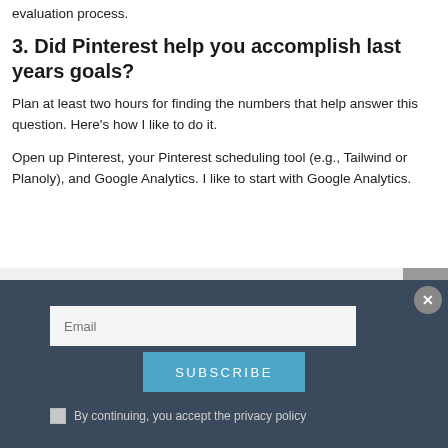evaluation process.
3. Did Pinterest help you accomplish last years goals?
Plan at least two hours for finding the numbers that help answer this question. Here's how I like to do it.
Open up Pinterest, your Pinterest scheduling tool (e.g., Tailwind or Planoly), and Google Analytics. I like to start with Google Analytics.
[Figure (screenshot): Email subscription popup overlay with dark blue background, email input field, Subscribe button in blue, close button (X) in gray circle, and privacy policy checkbox.]